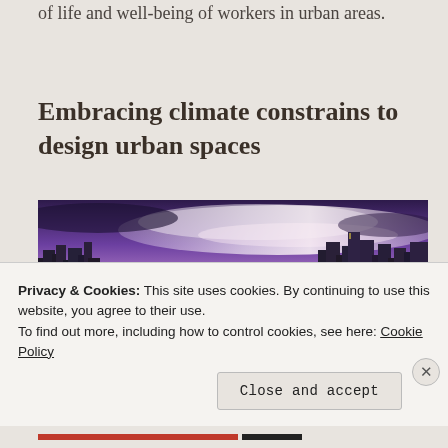of life and well-being of workers in urban areas.
Embracing climate constrains to design urban spaces
[Figure (photo): Aerial panoramic photograph of a dense urban cityscape at dusk/twilight with purple and blue sky, featuring a large green park/sports field in the center foreground surrounded by city buildings and street lights.]
Privacy & Cookies: This site uses cookies. By continuing to use this website, you agree to their use.
To find out more, including how to control cookies, see here: Cookie Policy
Close and accept